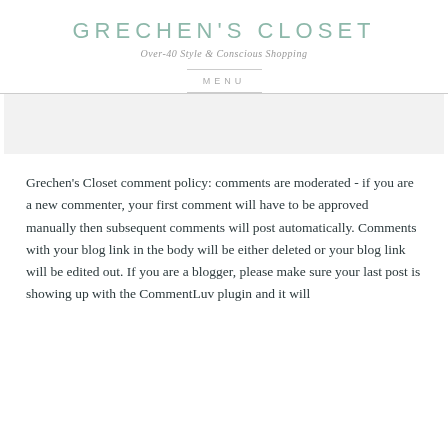GRECHEN'S CLOSET
Over-40 Style & Conscious Shopping
MENU
[Figure (other): Light gray advertisement banner block]
Grechen's Closet comment policy: comments are moderated - if you are a new commenter, your first comment will have to be approved manually then subsequent comments will post automatically. Comments with your blog link in the body will be either deleted or your blog link will be edited out. If you are a blogger, please make sure your last post is showing up with the CommentLuv plugin and it will